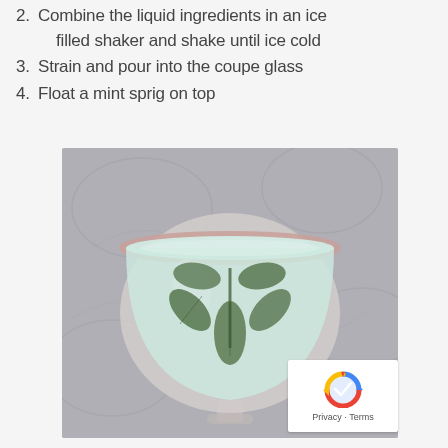2. Combine the liquid ingredients in an ice filled shaker and shake until ice cold
3. Strain and pour into the coupe glass
4. Float a mint sprig on top
[Figure (photo): Top-down view of a coupe glass containing a pale green cocktail with a mint sprig floating on top, set on a decorative grey background with subtle swirl patterns.]